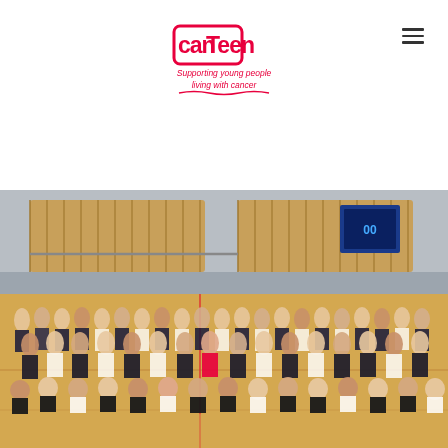[Figure (logo): CanTeen logo with text 'Supporting young people living with cancer' in red and pink]
[Figure (photo): Large group photo of school students and adults in formal uniforms (white shirts, dark ties) posed in a sports gymnasium/hall with wooden acoustic panels on the wall. One person in a red CanTeen t-shirt is visible in the center front row.]